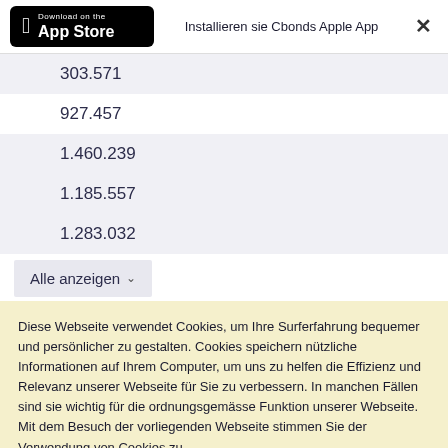[Figure (screenshot): App Store download banner with Apple logo, text 'Installieren sie Cbonds Apple App', and close X button]
303.571
927.457
1.460.239
1.185.557
1.283.032
Alle anzeigen
Diese Webseite verwendet Cookies, um Ihre Surferfahrung bequemer und persönlicher zu gestalten. Cookies speichern nützliche Informationen auf Ihrem Computer, um uns zu helfen die Effizienz und Relevanz unserer Webseite für Sie zu verbessern. In manchen Fällen sind sie wichtig für die ordnungsgemässe Funktion unserer Webseite. Mit dem Besuch der vorliegenden Webseite stimmen Sie der Verwendung von Cookies zu.
Ok